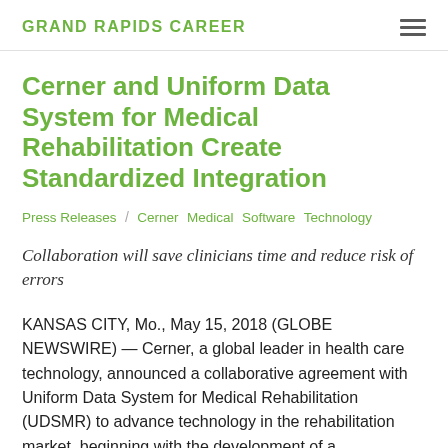GRAND RAPIDS CAREER
Cerner and Uniform Data System for Medical Rehabilitation Create Standardized Integration
Press Releases / Cerner Medical Software Technology
Collaboration will save clinicians time and reduce risk of errors
KANSAS CITY, Mo., May 15, 2018 (GLOBE NEWSWIRE) — Cerner, a global leader in health care technology, announced a collaborative agreement with Uniform Data System for Medical Rehabilitation (UDSMR) to advance technology in the rehabilitation market, beginning with the development of a